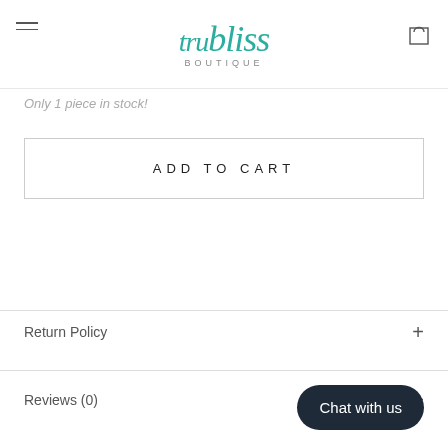[Figure (logo): TruBliss Boutique logo in teal script font with 'BOUTIQUE' in small grey caps below]
Only 1 piece in stock!
ADD TO CART
Return Policy
Reviews (0)
Chat with us